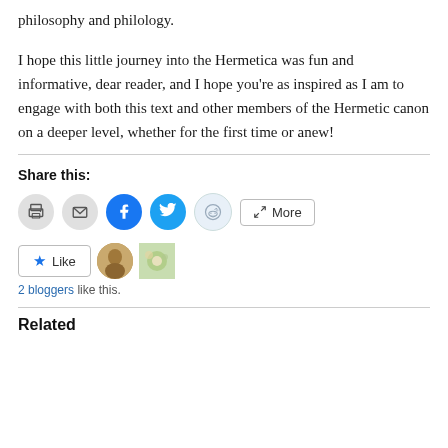philosophy and philology.
I hope this little journey into the Hermetica was fun and informative, dear reader, and I hope you’re as inspired as I am to engage with both this text and other members of the Hermetic canon on a deeper level, whether for the first time or anew!
Share this:
[Figure (other): Row of social share buttons: print (gray circle), email (gray circle), Facebook (blue circle), Twitter (blue circle), Reddit (light blue circle), and a More button with chevron icon]
[Figure (other): Like button with star icon and two blogger avatar thumbnails]
2 bloggers like this.
Related